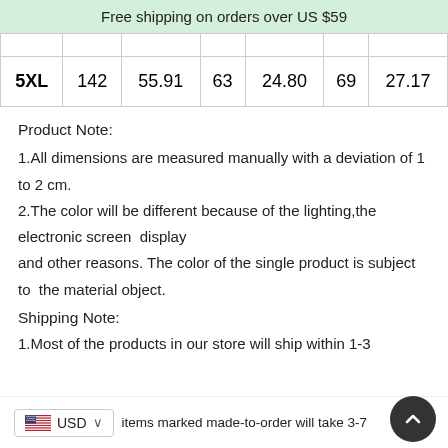Free shipping on orders over US $59
|  |  |  |  |  |  |  |
| 5XL | 142 | 55.91 | 63 | 24.80 | 69 | 27.17 |
Product Note:
1.All dimensions are measured manually with a deviation of 1 to 2 cm.
2.The color will be different because of the lighting,the electronic screen  display and other reasons. The color of the single product is subject to  the material object.
Shipping Note:
1.Most of the products in our store will ship within 1-3
items marked made-to-order will take 3-7